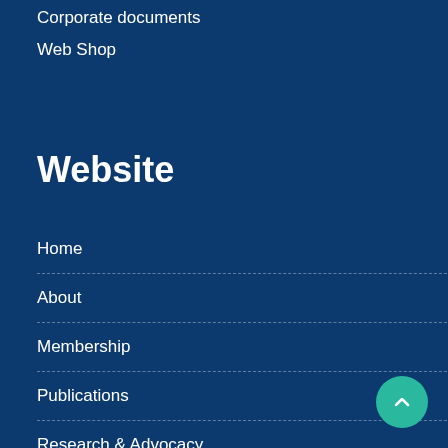Corporate documents
Web Shop
Website
Home
About
Membership
Publications
Research & Advocacy
SIGs